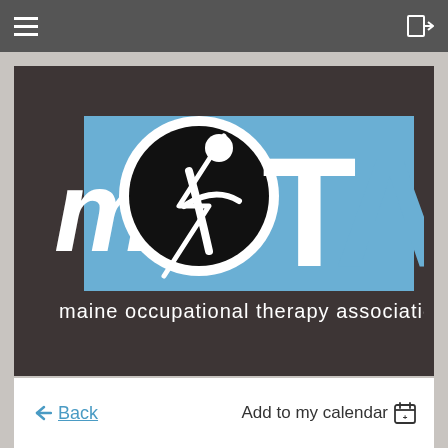Navigation bar with hamburger menu and login icon
[Figure (logo): meOTA - Maine Occupational Therapy Association logo. Dark background with blue and white text. 'me' in white lowercase, 'OTA' in large blue letters, with a circular emblem featuring a stylized human figure. Subtitle: 'maine occupational therapy association']
Back
Add to my calendar